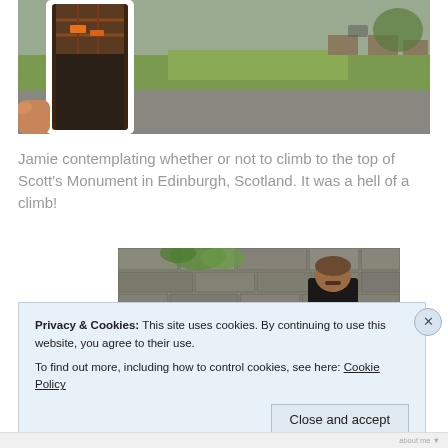[Figure (photo): Person holding a cardboard cutout figure in a park setting. The cutout shows a person in casual clothes. Background shows a paved path, green grass, and park benches.]
Jamie contemplating whether or not to climb to the top of Scott's Monument in Edinburgh, Scotland. It was a hell of a climb!
[Figure (photo): A man with a mustache standing in front of a stone wall with green plants/moss growing on it.]
Privacy & Cookies: This site uses cookies. By continuing to use this website, you agree to their use.
To find out more, including how to control cookies, see here: Cookie Policy